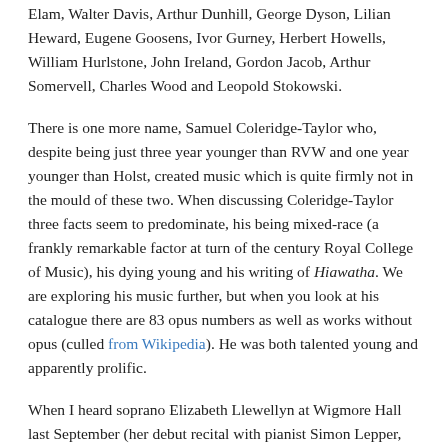Elam, Walter Davis, Arthur Dunhill, George Dyson, Lilian Heward, Eugene Goosens, Ivor Gurney, Herbert Howells, William Hurlstone, John Ireland, Gordon Jacob, Arthur Somervell, Charles Wood and Leopold Stokowski.
There is one more name, Samuel Coleridge-Taylor who, despite being just three year younger than RVW and one year younger than Holst, created music which is quite firmly not in the mould of these two. When discussing Coleridge-Taylor three facts seem to predominate, his being mixed-race (a frankly remarkable factor at turn of the century Royal College of Music), his dying young and his writing of Hiawatha. We are exploring his music further, but when you look at his catalogue there are 83 opus numbers as well as works without opus (culled from Wikipedia). He was both talented young and apparently prolific.
When I heard soprano Elizabeth Llewellyn at Wigmore Hall last September (her debut recital with pianist Simon Lepper, see my review), I was surprised not only by the group of mature Coleridge-Taylor songs that she included, the Six Sorrow Songs, that they should be so completely unknown and, on doing some research, that there were so many other songs which are equally unknown.